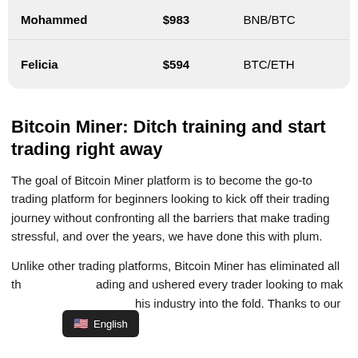| Name | Amount | Pair |
| --- | --- | --- |
| Mohammed | $983 | BNB/BTC |
| Felicia | $594 | BTC/ETH |
Bitcoin Miner: Ditch training and start trading right away
The goal of Bitcoin Miner platform is to become the go-to trading platform for beginners looking to kick off their trading journey without confronting all the barriers that make trading stressful, and over the years, we have done this with plum.
Unlike other trading platforms, Bitcoin Miner has eliminated all the barriers to trading and ushered every trader looking to make it in this industry into the fold. Thanks to our